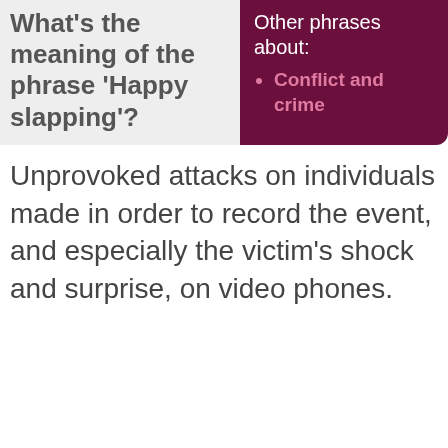What's the meaning of the phrase 'Happy slapping'?
Other phrases about:
Conflict and crime
Unprovoked attacks on individuals made in order to record the event, and especially the victim's shock and surprise, on video phones.